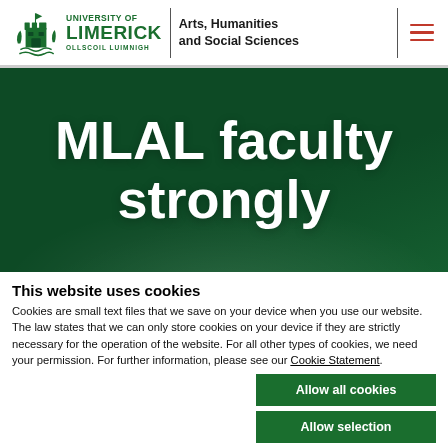University of Limerick – Arts, Humanities and Social Sciences
MLAL faculty strongly
This website uses cookies
Cookies are small text files that we save on your device when you use our website. The law states that we can only store cookies on your device if they are strictly necessary for the operation of the website. For all other types of cookies, we need your permission. For further information, please see our Cookie Statement.
Allow all cookies
Allow selection